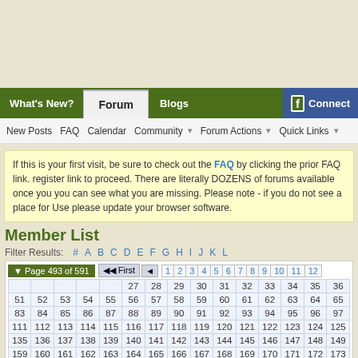What's New? | Forum | Blogs | Connect
New Posts  FAQ  Calendar  Community  Forum Actions  Quick Links
If this is your first visit, be sure to check out the FAQ by clicking the prior FAQ link. register link to proceed. There are literally DOZENS of forums available once you you can see what you are missing. Please note - if you do not see a place for Use please update your browser software.
Member List
Filter Results:  #  A  B  C  D  E  F  G  H  I  J  K  L
Page 493 of 591   First  ◄  1  2  3  4  5  6  7  8  9  10  11  12  27  28  29  30  31  32  33  34  35  36  51  52  53  54  55  56  57  58  59  60  61  62  63  64  65  66  67  6  83  84  85  86  87  88  89  90  91  92  93  94  95  96  97  98  99  1  111  112  113  114  115  116  117  118  119  120  121  122  123  12  135  136  137  138  139  140  141  142  143  144  145  146  147  14  159  160  161  162  163  164  165  166  167  168  169  170  171